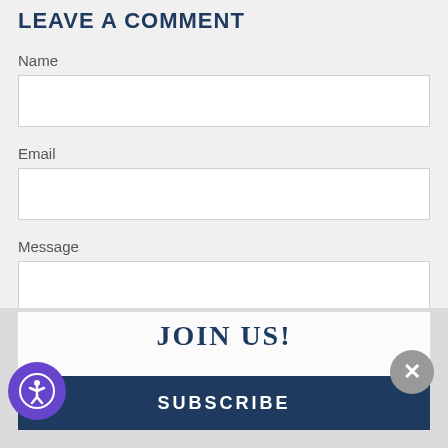LEAVE A COMMENT
Name
Email
Message
JOIN US!
SUBSCRIBE